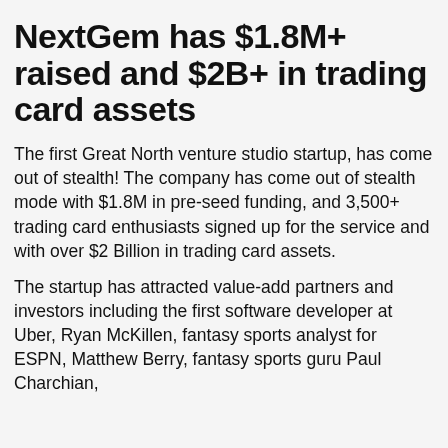NextGem has $1.8M+ raised and $2B+ in trading card assets
The first Great North venture studio startup, has come out of stealth! The company has come out of stealth mode with $1.8M in pre-seed funding, and 3,500+ trading card enthusiasts signed up for the service and with over $2 Billion in trading card assets.
The startup has attracted value-add partners and investors including the first software developer at Uber, Ryan McKillen, fantasy sports analyst for ESPN, Matthew Berry, fantasy sports guru Paul Charchian, former Minnesota Twin Omar Kashion and